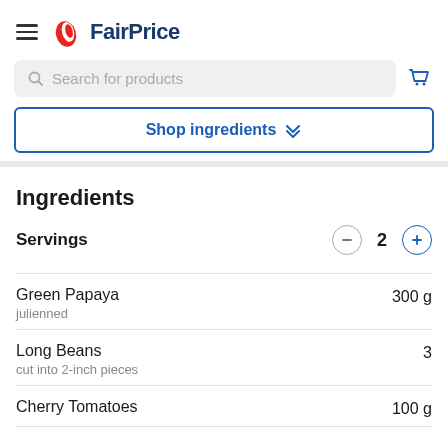FairPrice
Search for products
Shop ingredients
Ingredients
Servings  2
Green Papaya  300 g  julienned
Long Beans  3  cut into 2-inch pieces
Cherry Tomatoes  100 g